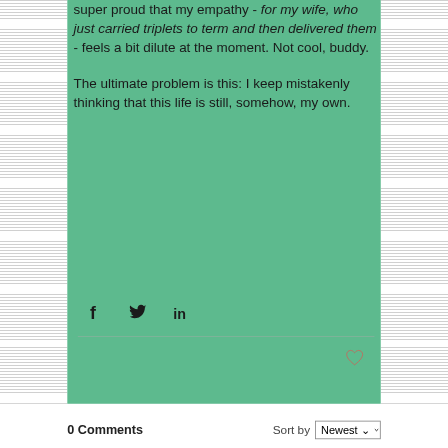super proud that my empathy - for my wife, who just carried triplets to term and then delivered them - feels a bit dilute at the moment. Not cool, buddy.

The ultimate problem is this: I keep mistakenly thinking that this life is still, somehow, my own.
[Figure (other): Social share icons: Facebook (f), Twitter (bird), LinkedIn (in)]
0 Comments
Sort by Newest